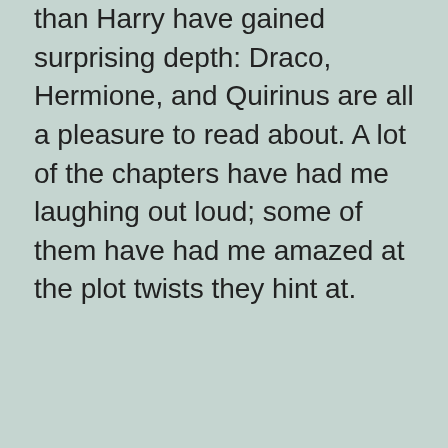than Harry have gained surprising depth: Draco, Hermione, and Quirinus are all a pleasure to read about. A lot of the chapters have had me laughing out loud; some of them have had me amazed at the plot twists they hint at.
Reply
Kyle Haight
2010-07-07 at 01:44:56
I'm only one chapter in so far, and already this